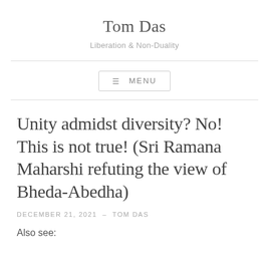Tom Das
Liberation & Non-Duality
≡ MENU
Unity admidst diversity? No! This is not true! (Sri Ramana Maharshi refuting the view of Bheda-Abedha)
DECEMBER 21, 2021  –  TOM DAS
Also see: